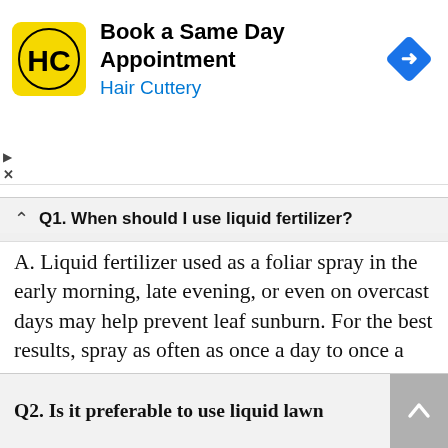[Figure (logo): Hair Cuttery advertisement banner with yellow HC logo, text 'Book a Same Day Appointment / Hair Cuttery', and a blue navigation diamond icon]
Q1. When should I use liquid fertilizer?
A. Liquid fertilizer used as a foliar spray in the early morning, late evening, or even on overcast days may help prevent leaf sunburn. For the best results, spray as often as once a day to once a week. A weekly solution may be used while treating daily.
Q2. Is it preferable to use liquid lawn